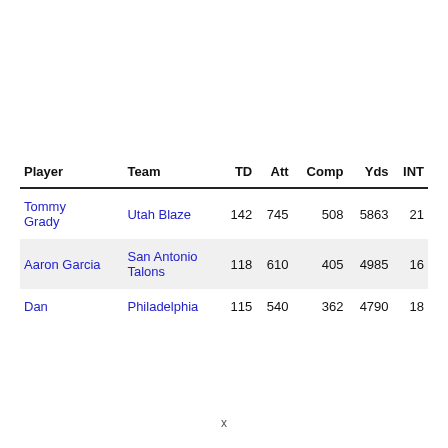| Player | Team | TD | Att | Comp | Yds | INT |
| --- | --- | --- | --- | --- | --- | --- |
| Tommy Grady | Utah Blaze | 142 | 745 | 508 | 5863 | 21 |
| Aaron Garcia | San Antonio Talons | 118 | 610 | 405 | 4985 | 16 |
| Dan | Philadelphia | 115 | 540 | 362 | 4790 | 18 |
x